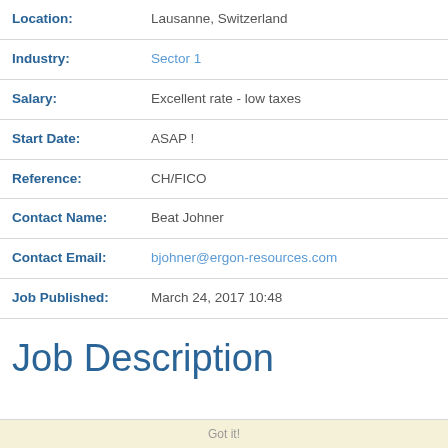| Location: | Lausanne, Switzerland |
| Industry: | Sector 1 |
| Salary: | Excellent rate - low taxes |
| Start Date: | ASAP ! |
| Reference: | CH/FICO |
| Contact Name: | Beat Johner |
| Contact Email: | bjohner@ergon-resources.com |
| Job Published: | March 24, 2017 10:48 |
Job Description
Got it!